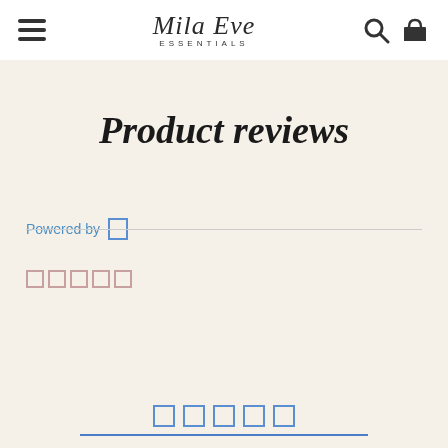Mila Eve Essentials — navigation header with hamburger menu, logo, search and cart icons
Product reviews
Powered by [icon]
[Figure (other): Five empty star outline rating boxes in mauve/pink color]
[Figure (other): Five empty star outline rating boxes in blue color]
[Figure (other): Blue horizontal underline bar]